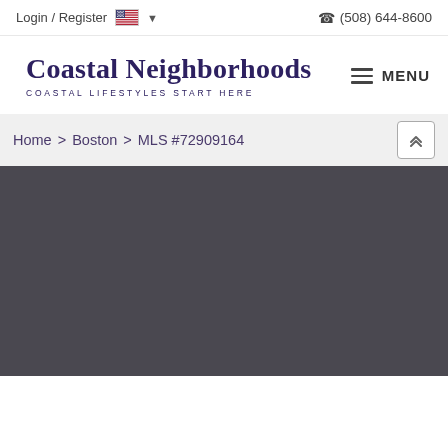Login / Register | (508) 644-8600
Coastal Neighborhoods
COASTAL LIFESTYLES START HERE
MENU
Home > Boston > MLS #72909164
[Figure (photo): Dark gray/charcoal background area representing a property listing image placeholder]